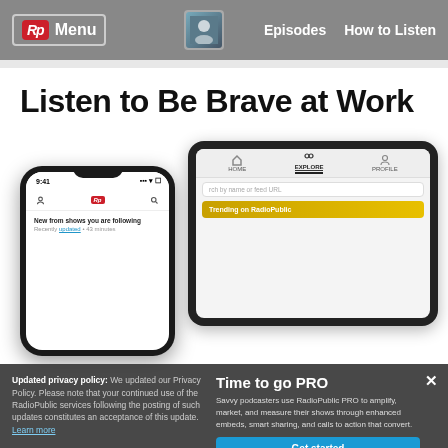Rp Menu | Episodes | How to Listen
Listen to Be Brave at Work
[Figure (screenshot): Two mobile devices (a phone and a tablet) showing the RadioPublic app interface. The phone displays the home feed 'New from shows you are following'. The tablet shows the Explore tab with 'Trending on RadioPublic'.]
Updated privacy policy: We updated our Privacy Policy. Please note that your continued use of the RadioPublic services following the posting of such updates constitutes an acceptance of this update.
Time to go PRO
Savvy podcasters use RadioPublic PRO to amplify, market, and measure their shows through enhanced embeds, smart sharing, and calls to action that convert.
Learn more
Get started